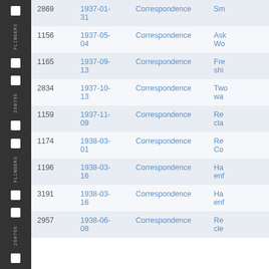| ID | Date | Type | Description |
| --- | --- | --- | --- |
| 2869 | 1937-01-31 | Correspondence | Sm… |
| 1156 | 1937-05-04 | Correspondence | Ask… Wo… |
| 1165 | 1937-09-13 | Correspondence | Fre… shi… |
| 2834 | 1937-10-13 | Correspondence | Two… wa… |
| 1159 | 1937-11-09 | Correspondence | Re… cla… |
| 1174 | 1938-03-01 | Correspondence | Re… Co… |
| 1196 | 1938-03-16 | Correspondence | Ha… enf… |
| 3191 | 1938-03-16 | Correspondence | Ha… enf… |
| 2957 | 1938-06-08 | Correspondence | Re… cle… |